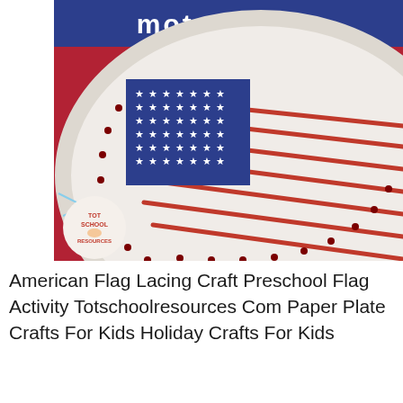[Figure (photo): A paper plate American flag lacing craft showing a white paper plate with red yarn laced through holes around the rim as stripes, a blue canton square with white stars attached to the upper left, and a 'Tot School Resources' logo circle in the lower left. A blue banner at top reads 'motor skills' in white text.]
American Flag Lacing Craft Preschool Flag Activity Totschoolresources Com Paper Plate Crafts For Kids Holiday Crafts For Kids